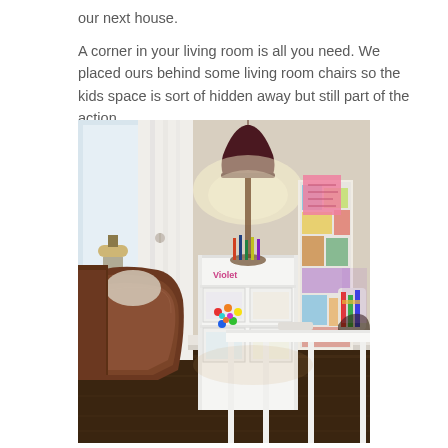our next house.
A corner in your living room is all you need. We placed ours behind some living room chairs so the kids space is sort of hidden away but still part of the action.
[Figure (photo): Interior photo of a children's play/study corner in a living room. Shows a white bookshelf/desk unit with colorful artwork and supplies, a dark pendant lamp illuminating the corner, a brown leather sofa arm in the foreground, white curtains by a window, and colorful art pinned on the wall to the right.]